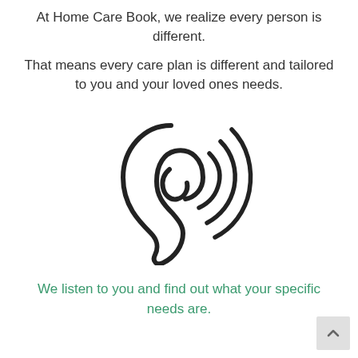At Home Care Book, we realize every person is different.
That means every care plan is different and tailored to you and your loved ones needs.
[Figure (illustration): An outline illustration of a human ear with sound waves (three curved lines) emanating from it, drawn in black stroke style on white background.]
We listen to you and find out what your specific needs are.